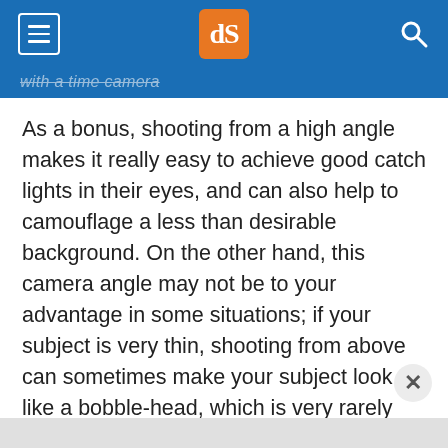dPS (digital Photography School logo)
with a time camera
As a bonus, shooting from a high angle makes it really easy to achieve good catch lights in their eyes, and can also help to camouflage a less than desirable background. On the other hand, this camera angle may not be to your advantage in some situations; if your subject is very thin, shooting from above can sometimes make your subject look like a bobble-head, which is very rarely flattering.